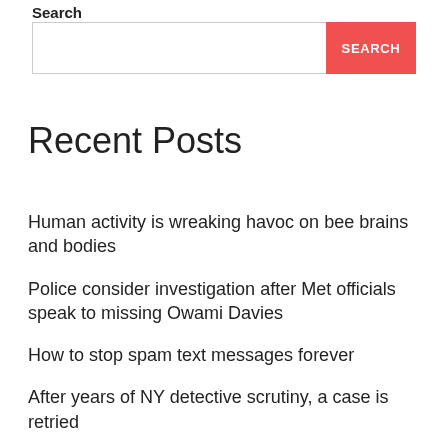Search
SEARCH
Recent Posts
Human activity is wreaking havoc on bee brains and bodies
Police consider investigation after Met officials speak to missing Owami Davies
How to stop spam text messages forever
After years of NY detective scrutiny, a case is retried
Eight-day strike begins at UK’s biggest port